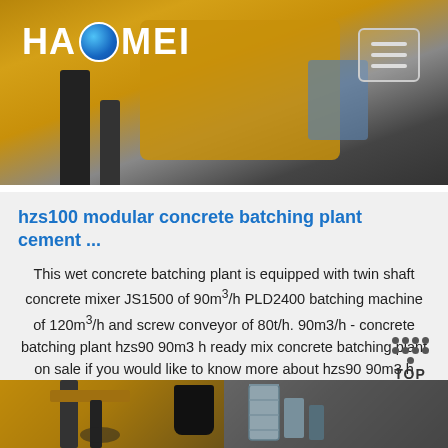[Figure (photo): Industrial concrete batching plant machinery, yellow/gold colored equipment with dark background. Haomei logo in top left, hamburger menu icon in top right.]
hzs100 modular concrete batching plant cement ...
This wet concrete batching plant is equipped with twin shaft concrete mixer JS1500 of 90m³/h PLD2400 batching machine of 120m³/h and screw conveyor of 80t/h. 90m3/h - concrete batching plant hzs90 90m3 h ready mix concrete batching plant on sale if you would like to know more about hzs90 90m3 h ready mix concrete batching plant … Get Price
Get Price
[Figure (photo): Two bottom images showing close-up views of concrete batching plant equipment - left shows yellow machinery arm, right shows industrial barrels/containers in dark setting.]